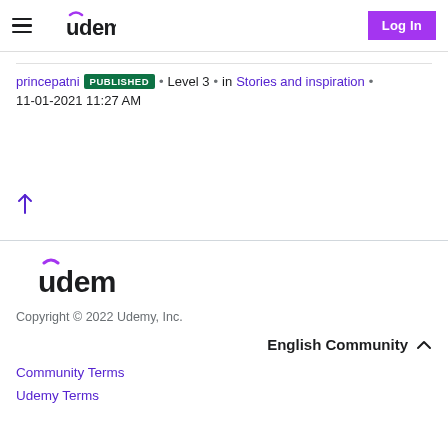Udemy — hamburger menu, Udemy logo, Log In button
princepatni PUBLISHED • Level 3 • in Stories and inspiration • 11-01-2021 11:27 AM
[Figure (other): Up arrow icon in purple]
Udemy logo. Copyright © 2022 Udemy, Inc. English Community ^ Community Terms Udemy Terms